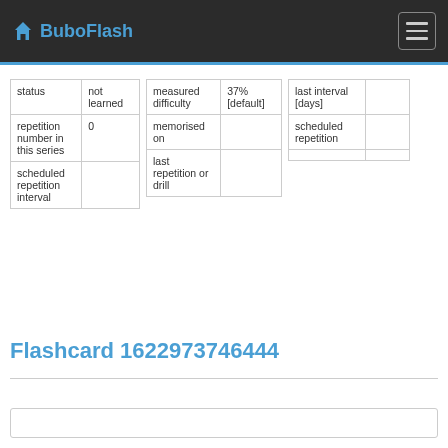BuboFlash
| status | not learned |
| repetition number in this series | 0 |
| scheduled repetition interval |  |
| measured difficulty | 37% [default] |
| memorised on |  |
| last repetition or drill |  |
| last interval [days] |  |
| scheduled repetition |  |
|  |  |
Flashcard 1622973746444